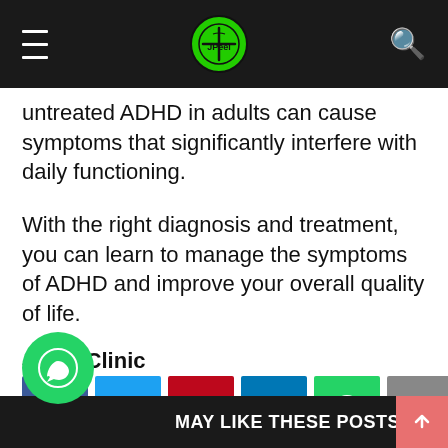JPeei Clinic navigation bar with logo
untreated ADHD in adults can cause symptoms that significantly interfere with daily functioning.
With the right diagnosis and treatment, you can learn to manage the symptoms of ADHD and improve your overall quality of life.
JPeei Clinic
[Figure (infographic): Social media share buttons: Facebook, Twitter, Pinterest, LinkedIn, WhatsApp, Email]
MAY LIKE THESE POSTS